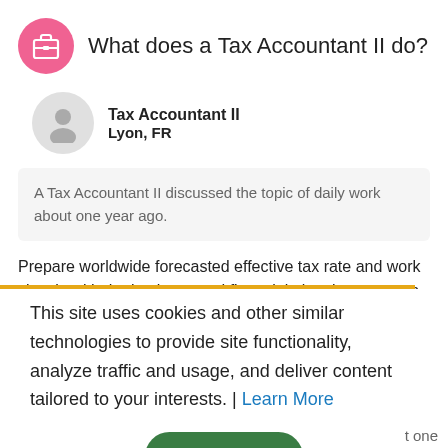What does a Tax Accountant II do?
Tax Accountant II
Lyon, FR
A Tax Accountant II discussed the topic of daily work about one year ago.
Prepare worldwide forecasted effective tax rate and work closely with the business and financial planning teams to properly calculate and adjust with any changes in the business.
2/25/2020
This site uses cookies and other similar technologies to provide site functionality, analyze traffic and usage, and deliver content tailored to your interests. | Learn More
I Accept